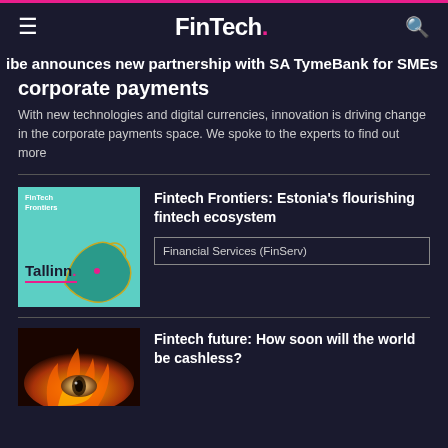FinTech.
ibe announces new partnership with SA TymeBank for SMEs corporate payments
corporate payments
With new technologies and digital currencies, innovation is driving change in the corporate payments space. We spoke to the experts to find out more
[Figure (illustration): FinTech Frontiers thumbnail showing Tallinn text and Estonia map on teal background]
Fintech Frontiers: Estonia's flourishing fintech ecosystem
Financial Services (FinServ)
[Figure (photo): Fire and eye image for Fintech future article]
Fintech future: How soon will the world be cashless?